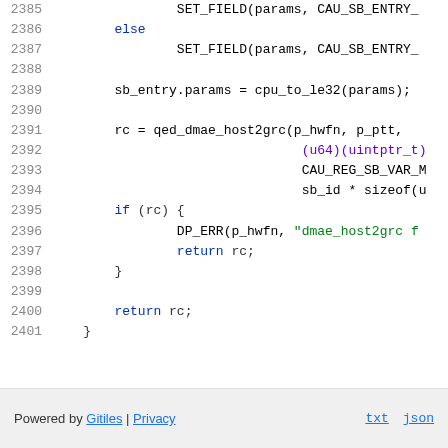Source code listing lines 2385-2401: C code snippet showing SET_FIELD, sb_entry.params, qed_dmae_host2grc call, if(rc) block, and return rc.
Powered by Gitiles | Privacy   txt   json